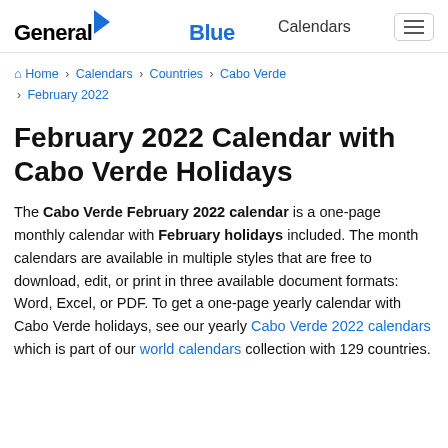General Blue — Calendars
Home > Calendars > Countries > Cabo Verde > February 2022
February 2022 Calendar with Cabo Verde Holidays
The Cabo Verde February 2022 calendar is a one-page monthly calendar with February holidays included. The month calendars are available in multiple styles that are free to download, edit, or print in three available document formats: Word, Excel, or PDF. To get a one-page yearly calendar with Cabo Verde holidays, see our yearly Cabo Verde 2022 calendars which is part of our world calendars collection with 129 countries.